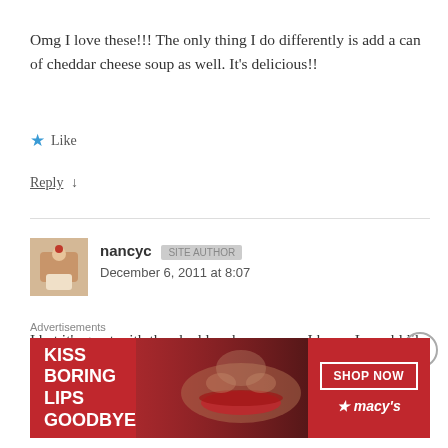Omg I love these!!! The only thing I do differently is add a can of cheddar cheese soup as well. It's delicious!!
★ Like
Reply ↓
nancyc  [badge]  December 6, 2011 at 8:07
I bet it's great with the cheddar cheese soup–I know I would like that! 🙂
Advertisements
[Figure (photo): Macy's lipstick advertisement banner with text 'KISS BORING LIPS GOODBYE' and 'SHOP NOW' button, featuring a woman's face with red lipstick]